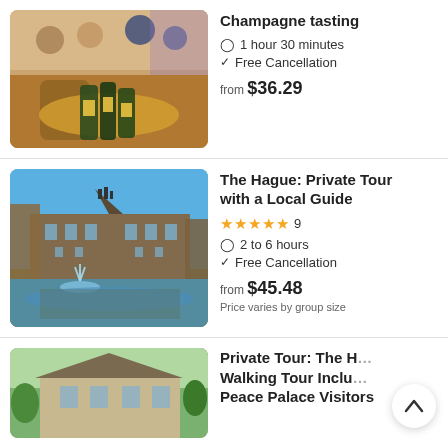[Figure (photo): People at champagne tasting event, bottles in ice bucket on table]
Champagne tasting
1 hour 30 minutes
Free Cancellation
from $36.29
[Figure (photo): The Hague Binnenhof building with water and fountain in foreground, blue sky]
The Hague: Private Tour with a Local Guide
★★★★★ 9
2 to 6 hours
Free Cancellation
from $45.48
Price varies by group size
[Figure (photo): Historic building exterior with trees, partially visible]
Private Tour: The Hague Walking Tour Includ... Peace Palace Visitors